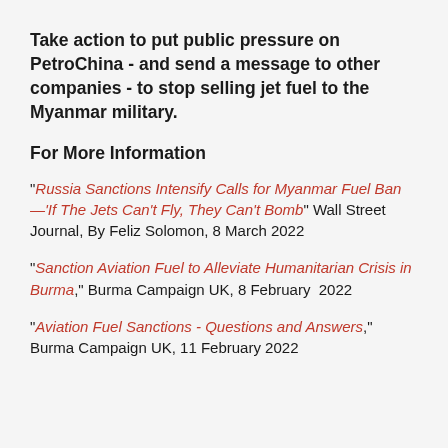Take action to put public pressure on PetroChina - and send a message to other companies - to stop selling jet fuel to the Myanmar military.
For More Information
"Russia Sanctions Intensify Calls for Myanmar Fuel Ban—'If The Jets Can't Fly, They Can't Bomb" Wall Street Journal, By Feliz Solomon, 8 March 2022
"Sanction Aviation Fuel to Alleviate Humanitarian Crisis in Burma," Burma Campaign UK, 8 February 2022
"Aviation Fuel Sanctions - Questions and Answers," Burma Campaign UK, 11 February 2022